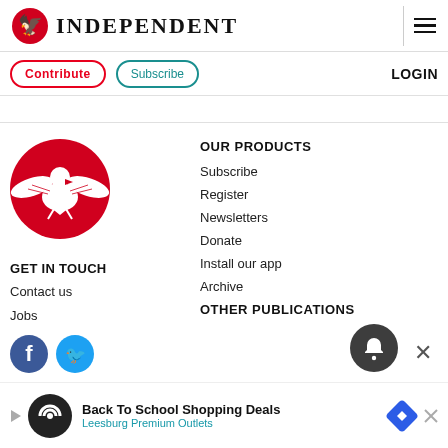INDEPENDENT
Contribute | Subscribe | LOGIN
[Figure (logo): The Independent eagle logo in red circle]
GET IN TOUCH
Contact us
Jobs
OUR PRODUCTS
Subscribe
Register
Newsletters
Donate
Install our app
Archive
OTHER PUBLICATIONS
Back To School Shopping Deals Leesburg Premium Outlets